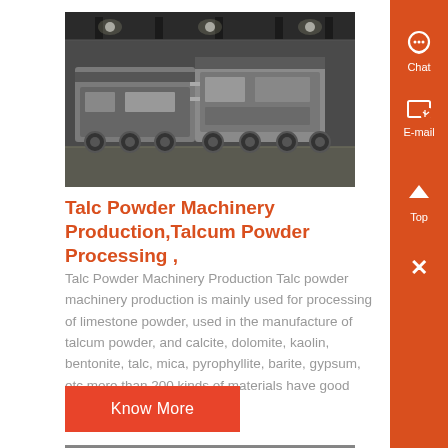[Figure (photo): Industrial machinery/equipment in a large factory warehouse setting, viewed from a wide angle showing large wheeled or tracked processing machines on a concrete floor.]
Talc Powder Machinery Production,Talcum Powder Processing ,
Talc Powder Machinery Production Talc powder machinery production is mainly used for processing of limestone powder, used in the manufacture of talcum powder, and calcite, dolomite, kaolin, bentonite, talc, mica, pyrophyllite, barite, gypsum, etc more than 200 kinds of materials have good processing effect..
Know More
[Figure (photo): Partial view of industrial machinery at the bottom of the page.]